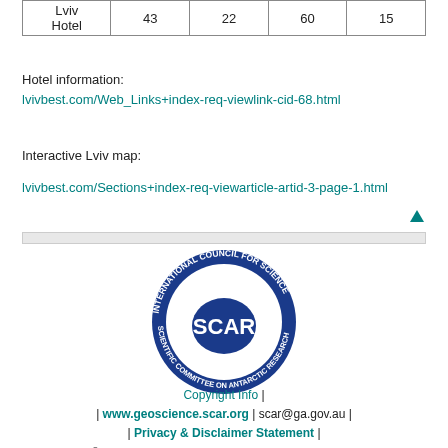|  |  |  |  |  |
| --- | --- | --- | --- | --- |
| Lviv
Hotel | 43 | 22 | 60 | 15 |
Hotel information:
lvivbest.com/Web_Links+index-req-viewlink-cid-68.html
Interactive Lviv map:
lvivbest.com/Sections+index-req-viewarticle-artid-3-page-1.html
[Figure (logo): SCAR logo - International Council for Science / Scientific Committee on Antarctic Research circular seal with map of Antarctica]
Copyright Info | | www.geoscience.scar.org | scar@ga.gov.au | | Privacy & Disclaimer Statement | © COMMONWEALTH OF AUSTRALIA 1995-2005